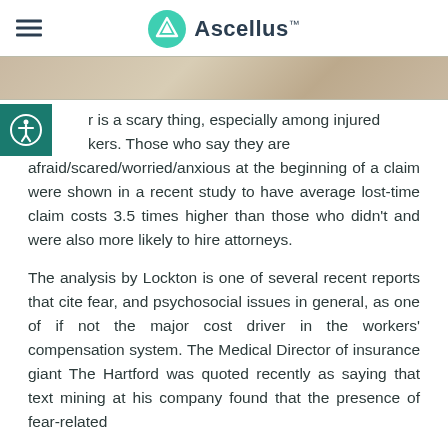Ascellus
[Figure (photo): Partial photo strip showing people, cropped at top]
r is a scary thing, especially among injured kers. Those who say they are afraid/scared/worried/anxious at the beginning of a claim were shown in a recent study to have average lost-time claim costs 3.5 times higher than those who didn't and were also more likely to hire attorneys.
The analysis by Lockton is one of several recent reports that cite fear, and psychosocial issues in general, as one of if not the major cost driver in the workers' compensation system. The Medical Director of insurance giant The Hartford was quoted recently as saying that text mining at his company found that the presence of fear-related